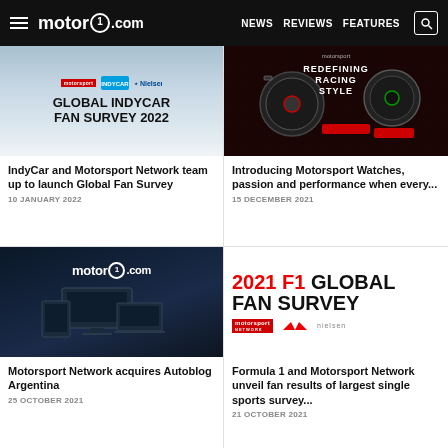motor1.com — NEWS  REVIEWS  FEATURES
[Figure (screenshot): Global IndyCar Fan Survey 2022 banner with Motorsport Network, IndyCar, and Nielsen logos]
IndyCar and Motorsport Network team up to launch Global Fan Survey
10 JANUARY 2022
[Figure (photo): Motorsport Watches advertisement — two racing-style watches on dark background with text REDEFINING RACING STYLE]
Introducing Motorsport Watches, passion and performance when every...
15 DECEMBER 2021
[Figure (screenshot): Motor1.com website shown on multiple devices — desktop, tablet, and laptop on dark background]
Motorsport Network acquires Autoblog Argentina
25 OCTOBER 2021
[Figure (infographic): 2021 F1 Global Fan Survey banner with Motorsport Network, Formula 1, and Nielsen logos]
Formula 1 and Motorsport Network unveil fan results of largest single sports survey...
21 OCTOBER 2021